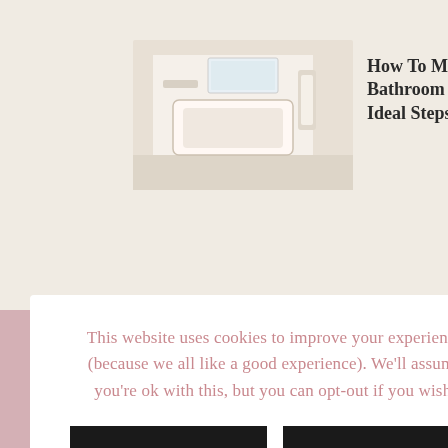[Figure (photo): Small bathroom interior thumbnail image showing beige/cream tiles and fixtures]
How To Make A Small Bathroom Look Bigger In 7 Ideal Steps
This website uses cookies to improve your experience (because we all like a good experience). We'll assume you're ok with this, but you can opt-out if you wish.